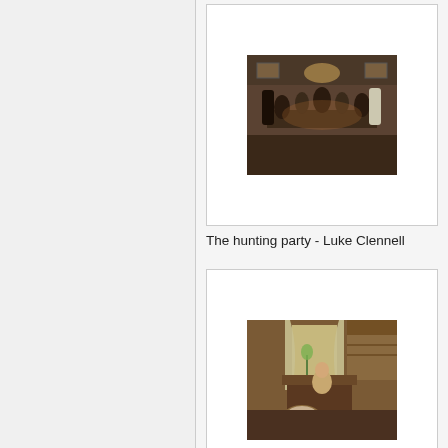[Figure (illustration): Painting: The hunting party - a lively indoor gathering scene with many figures around a table, by Luke Clennell]
The hunting party - Luke Clennell
[Figure (illustration): Painting: Woman with Baby - a domestic interior scene with a woman seated near a window by a cradle with a baby, by Edward Lamson Henry]
Woman with Baby - Edward Lamson Henry